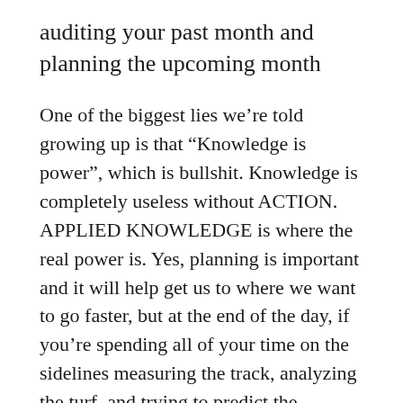auditing your past month and planning the upcoming month
One of the biggest lies we’re told growing up is that “Knowledge is power”, which is bullshit. Knowledge is completely useless without ACTION. APPLIED KNOWLEDGE is where the real power is. Yes, planning is important and it will help get us to where we want to go faster, but at the end of the day, if you’re spending all of your time on the sidelines measuring the track, analyzing the turf, and trying to predict the weather, you’re never going to get into the race.